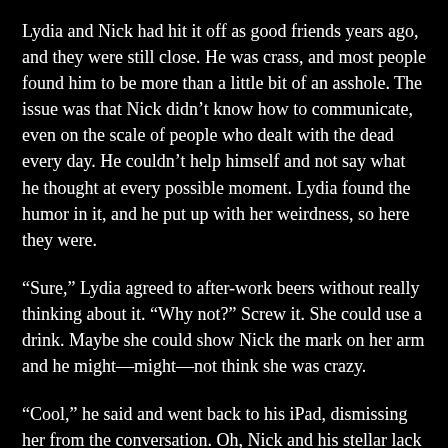Lydia and Nick had hit it off as good friends years ago, and they were still close. He was crass, and most people found him to be more than a little bit of an asshole. The issue was that Nick didn't know how to communicate, even on the scale of people who dealt with the dead every day. He couldn't help himself and not say what he thought at every possible moment. Lydia found the humor in it, and he put up with her weirdness, so here they were.
“Sure,” Lydia agreed to after-work beers without really thinking about it. “Why not?” Screw it. She could use a drink. Maybe she could show Nick the mark on her arm and he might—might—not think she was crazy.
“Cool,” he said and went back to his iPad, dismissing her from the conversation. Oh, Nick and his stellar lack of people skills.